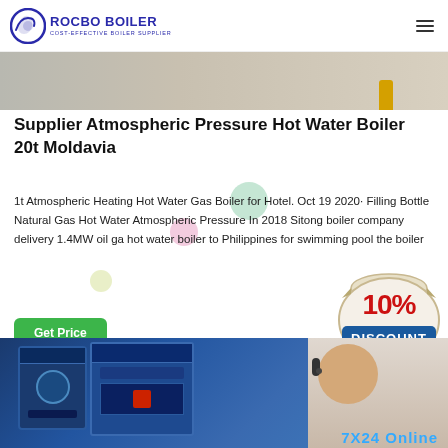ROCBO BOILER - COST-EFFECTIVE BOILER SUPPLIER
[Figure (photo): Top portion of industrial boiler installation photo, partially visible at top of page]
Supplier Atmospheric Pressure Hot Water Boiler 20t Moldavia
1t Atmospheric Heating Hot Water Gas Boiler for Hotel. Oct 19 2020· Filling Bottle Natural Gas Hot Water Atmospheric Pressure In 2018 Sitong boiler company delivery 1.4MW oil gas hot water boiler to Philippines for swimming pool the boiler
[Figure (infographic): 10% DISCOUNT promotional badge in red and blue]
[Figure (photo): Industrial blue electric boiler unit in facility, with customer service representative partially visible on right side. Text '7X24 Online' visible at bottom right.]